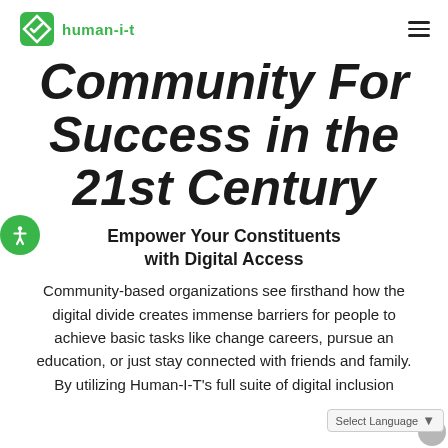human-i-t
Community For Success in the 21st Century
Empower Your Constituents with Digital Access
Community-based organizations see firsthand how the digital divide creates immense barriers for people to achieve basic tasks like change careers, pursue an education, or just stay connected with friends and family. By utilizing Human-I-T's full suite of digital inclusion